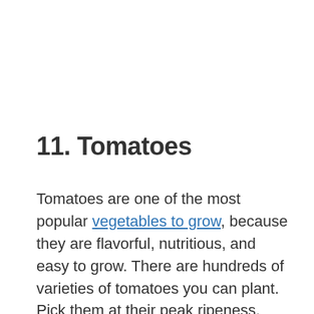11. Tomatoes
Tomatoes are one of the most popular vegetables to grow, because they are flavorful, nutritious, and easy to grow. There are hundreds of varieties of tomatoes you can plant. Pick them at their peak ripeness, when they are fully colored and firm. For best results and harvesting throughout the growing season, plant several types.